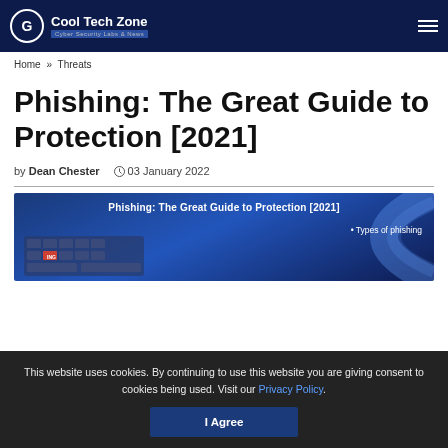Cool Tech Zone — Cyber Security Labs & News
Home » Threats
Phishing: The Great Guide to Protection [2021]
by Dean Chester   03 January 2022
[Figure (illustration): Featured article image showing 'Phishing: The Great Guide to Protection [2021]' with a keyboard graphic and bullet point 'Types of phishing' on a dark blue background]
This website uses cookies. By continuing to use this website you are giving consent to cookies being used. Visit our Privacy Policy.
I Agree